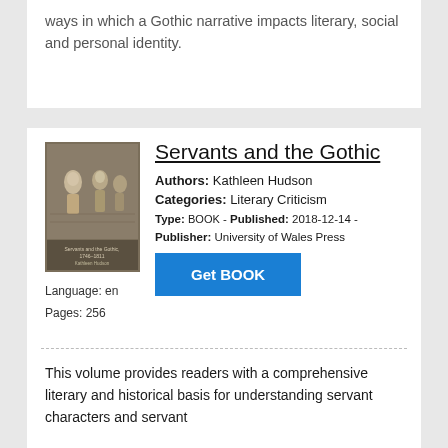ways in which a Gothic narrative impacts literary, social and personal identity.
[Figure (illustration): Book cover of 'Servants and the Gothic' showing a historical engraving scene with figures in period dress]
Servants and the Gothic
Authors: Kathleen Hudson
Categories: Literary Criticism
Type: BOOK - Published: 2018-12-14 - Publisher: University of Wales Press
Language: en
Pages: 256
Get BOOK
This volume provides readers with a comprehensive literary and historical basis for understanding servant characters and servant